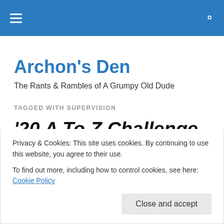Archon's Den — navigation bar with hamburger menu and search icon
Archon's Den
The Rants & Rambles of A Grumpy Old Dude
TAGGED WITH SUPERVISION
'20 A To Z Challenge – I
Privacy & Cookies: This site uses cookies. By continuing to use this website, you agree to their use.
To find out more, including how to control cookies, see here: Cookie Policy
Close and accept